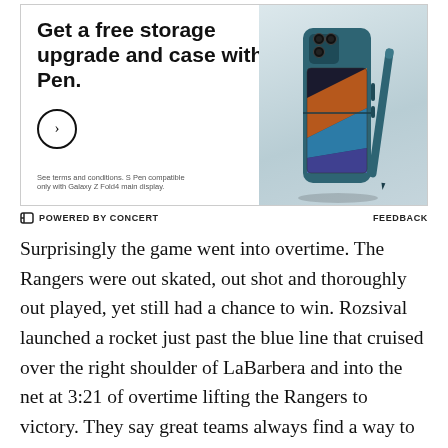[Figure (photo): Samsung Galaxy Z Fold4 advertisement showing a teal/dark green Galaxy Z Fold4 phone with S Pen and case. Text reads: 'Get a free storage upgrade and case with S Pen.' with a circular arrow button and fine print about terms and conditions.]
POWERED BY CONCERT    FEEDBACK
Surprisingly the game went into overtime. The Rangers were out skated, out shot and thoroughly out played, yet still had a chance to win. Rozsival launched a rocket just past the blue line that cruised over the right shoulder of LaBarbera and into the net at 3:21 of overtime lifting the Rangers to victory. They say great teams always find a way to win. Regardless of a win or loss for New York, I still find myself in a state of joy when I'm at a hockey game. The light chill in the air,